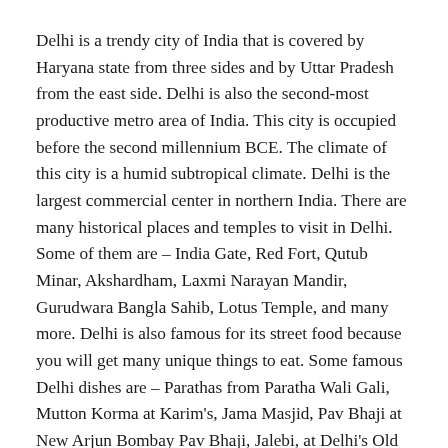Delhi is a trendy city of India that is covered by Haryana state from three sides and by Uttar Pradesh from the east side. Delhi is also the second-most productive metro area of India. This city is occupied before the second millennium BCE. The climate of this city is a humid subtropical climate. Delhi is the largest commercial center in northern India. There are many historical places and temples to visit in Delhi. Some of them are – India Gate, Red Fort, Qutub Minar, Akshardham, Laxmi Narayan Mandir, Gurudwara Bangla Sahib, Lotus Temple, and many more. Delhi is also famous for its street food because you will get many unique things to eat. Some famous Delhi dishes are – Parathas from Paratha Wali Gali, Mutton Korma at Karim's, Jama Masjid, Pav Bhaji at New Arjun Bombay Pav Bhaji, Jalebi, at Delhi's Old Famous Jalebi Wala, and many more.